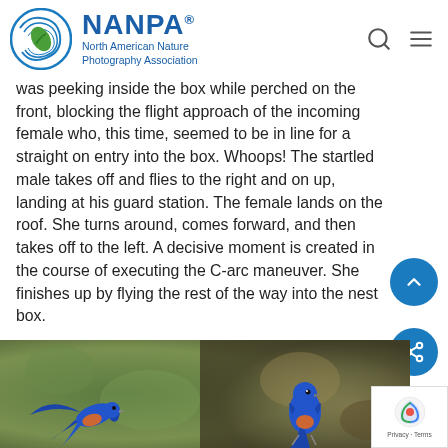NANPA® North American Nature Photography Association
was peeking inside the box while perched on the front, blocking the flight approach of the incoming female who, this time, seemed to be in line for a straight on entry into the box. Whoops! The startled male takes off and flies to the right and on up, landing at his guard station. The female lands on the roof. She turns around, comes forward, and then takes off to the left. A decisive moment is created in the course of executing the C-arc maneuver. She finishes up by flying the rest of the way into the nest box.
[Figure (photo): Two bluebirds photographed against a blurred green and brown natural background. One bird on the left is shown in flight with wings spread, and another bird on the right is perched, both displaying characteristic blue plumage.]